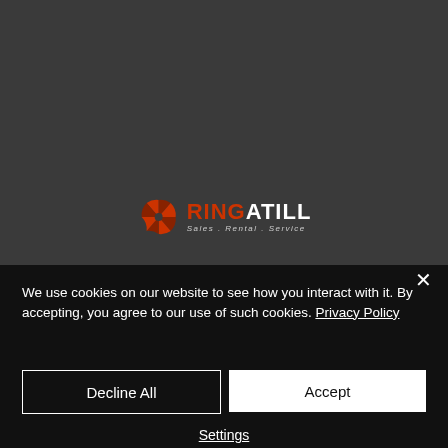[Figure (logo): RingATill logo with orange circular icon and text 'RINGATILL Sales . Rental . Service' on dark background]
We use cookies on our website to see how you interact with it. By accepting, you agree to our use of such cookies. Privacy Policy
Decline All
Accept
Settings